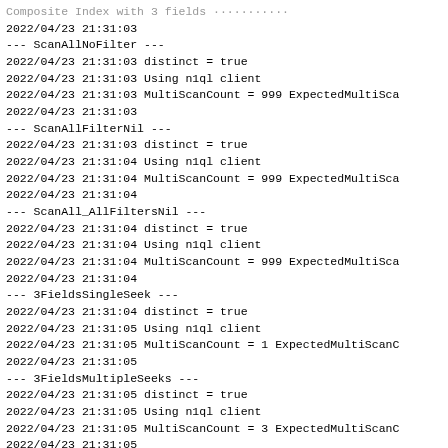Composite Index with 3 fields
2022/04/23 21:31:03
--- ScanAllNoFilter ---
2022/04/23 21:31:03 distinct = true
2022/04/23 21:31:03 Using n1ql client
2022/04/23 21:31:03 MultiScanCount = 999 ExpectedMultiSca
2022/04/23 21:31:03
--- ScanAllFilterNil ---
2022/04/23 21:31:03 distinct = true
2022/04/23 21:31:04 Using n1ql client
2022/04/23 21:31:04 MultiScanCount = 999 ExpectedMultiSca
2022/04/23 21:31:04
--- ScanAll_AllFiltersNil ---
2022/04/23 21:31:04 distinct = true
2022/04/23 21:31:04 Using n1ql client
2022/04/23 21:31:04 MultiScanCount = 999 ExpectedMultiSca
2022/04/23 21:31:04
--- 3FieldsSingleSeek ---
2022/04/23 21:31:04 distinct = true
2022/04/23 21:31:05 Using n1ql client
2022/04/23 21:31:05 MultiScanCount = 1 ExpectedMultiScanC
2022/04/23 21:31:05
--- 3FieldsMultipleSeeks ---
2022/04/23 21:31:05 distinct = true
2022/04/23 21:31:05 Using n1ql client
2022/04/23 21:31:05 MultiScanCount = 3 ExpectedMultiScanC
2022/04/23 21:31:05
--- 3FieldsMultipleSeeks_Identical ---
2022/04/23 21:31:05 distinct = true
2022/04/23 21:31:06 Using n1ql client
2022/04/23 21:31:06 MultiScanCount = 3 ExpectedMultiScanC